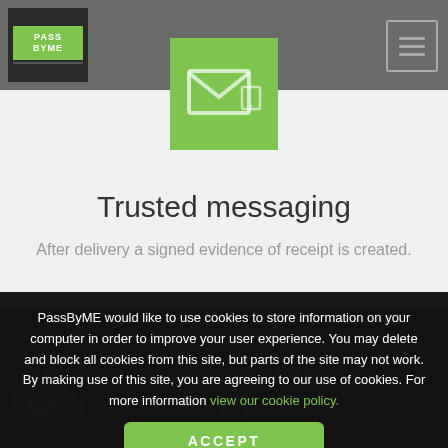PassByME logo and navigation header
[Figure (illustration): Green square icon box with envelope/message icon in the center, positioned in the header area]
Trusted messaging
After delivery a signed evidence of receipt is created.
PassByME would like to use cookies to store information on your computer in order to improve your user experience. You may delete and block all cookies from this site, but parts of the site may not work. By making use of this site, you are agreeing to our use of cookies. For more information view our cookie policy.
ACCEPT